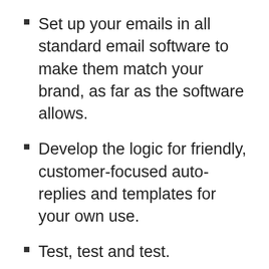Set up your emails in all standard email software to make them match your brand, as far as the software allows.
Develop the logic for friendly, customer-focused auto-replies and templates for your own use.
Test, test and test.
You might be using a sophisticated system to send your messages. But did you get professional help to create the messaging flow itself?